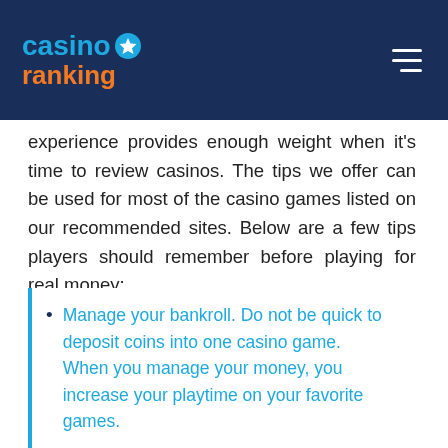casino ranking
experience provides enough weight when it's time to review casinos. The tips we offer can be used for most of the casino games listed on our recommended sites. Below are a few tips players should remember before playing for real money:
Manage your bankroll. Do not be quick to deposit coins into one casino game. When you manage your money, you increase your playtime on your favorite games.
The next is just as important as the first. Always play with the